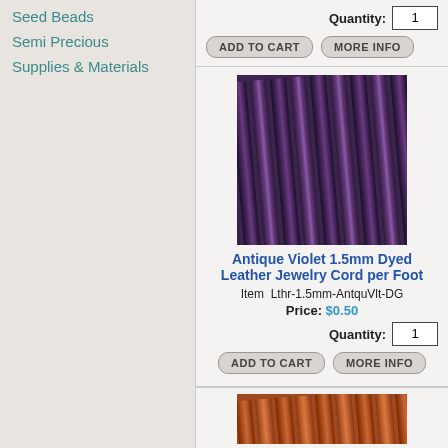Seed Beads
Semi Precious
Supplies & Materials
Quantity: 1
ADD TO CART | MORE INFO
[Figure (photo): Close-up photo of antique violet 1.5mm dyed leather cord coils]
Antique Violet 1.5mm Dyed Leather Jewelry Cord per Foot
Item  Lthr-1.5mm-AntquVlt-DG
Price: $0.50
Quantity: 1
ADD TO CART | MORE INFO
[Figure (photo): Close-up photo of orange/brown leather cord coils (partial, bottom of page)]